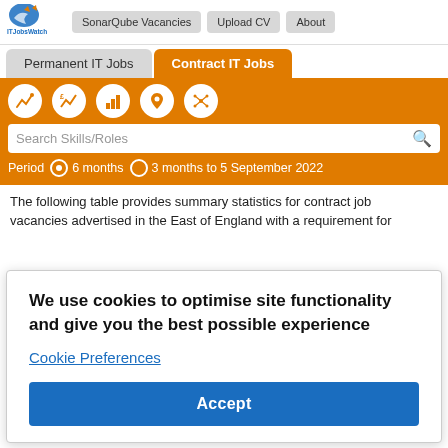ITJobsWatch | SonarQube Vacancies | Upload CV | About
Permanent IT Jobs | Contract IT Jobs
[Figure (screenshot): Orange toolbar with icons: trend chart, currency chart, bar chart, location pin, network graph; search box 'Search Skills/Roles'; period selector: 6 months (selected), 3 months to 5 September 2022]
The following table provides summary statistics for contract job vacancies advertised in the East of England with a requirement for [contractor] [e 6] [period in]
We use cookies to optimise site functionality and give you the best possible experience
Cookie Preferences
Accept
[se] [rates are]
England > East of England